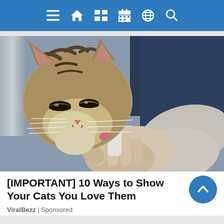Navigation bar with menu, home, grid, calendar, globe, and search icons
[Figure (photo): A tabby cat licking or being fed from a small bottle held by a person wearing a light grey long-sleeve top and dark navy clothing in the background.]
[IMPORTANT] 10 Ways to Show Your Cats You Love Them
ViralBezz | Sponsored